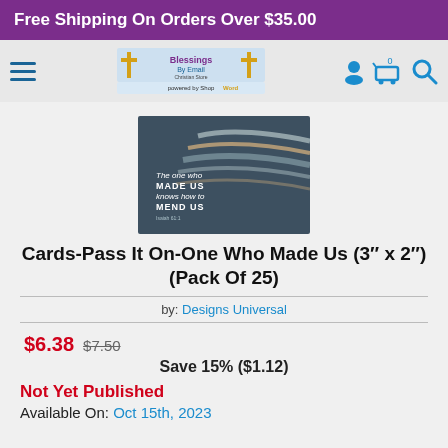Free Shipping On Orders Over $35.00
[Figure (logo): Blessings By Email Christian Store logo with two golden crosses, powered by ShopTheWord]
[Figure (photo): Product image of a dark teal card with flowing wave lines and text 'The one who MADE US knows how to MEND US']
Cards-Pass It On-One Who Made Us (3" x 2") (Pack Of 25)
by: Designs Universal
$6.38  $7.50
Save 15% ($1.12)
Not Yet Published
Available On: Oct 15th, 2023